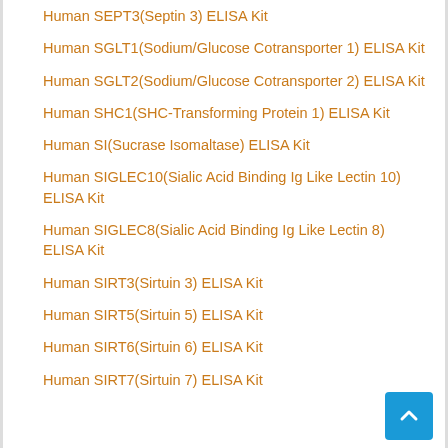Human SEPT3(Septin 3) ELISA Kit
Human SGLT1(Sodium/Glucose Cotransporter 1) ELISA Kit
Human SGLT2(Sodium/Glucose Cotransporter 2) ELISA Kit
Human SHC1(SHC-Transforming Protein 1) ELISA Kit
Human SI(Sucrase Isomaltase) ELISA Kit
Human SIGLEC10(Sialic Acid Binding Ig Like Lectin 10) ELISA Kit
Human SIGLEC8(Sialic Acid Binding Ig Like Lectin 8) ELISA Kit
Human SIRT3(Sirtuin 3) ELISA Kit
Human SIRT5(Sirtuin 5) ELISA Kit
Human SIRT6(Sirtuin 6) ELISA Kit
Human SIRT7(Sirtuin 7) ELISA Kit